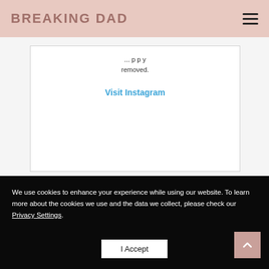BREAKING DAD
removed.
Visit Instagram
We use cookies to enhance your experience while using our website. To learn more about the cookies we use and the data we collect, please check our Privacy Settings.
I Accept